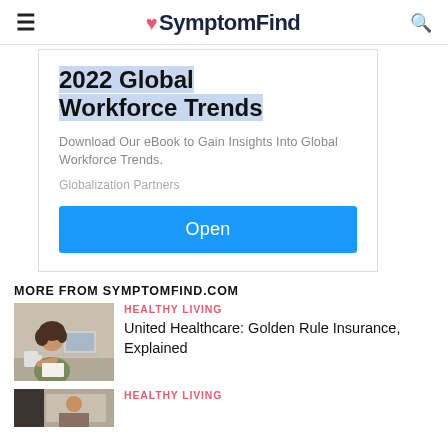SymptomFind
[Figure (infographic): Advertisement: 2022 Global Workforce Trends eBook. Title highlighted in blue, description text, Globalization Partners sponsor, blue Open button.]
MORE FROM SYMPTOMFIND.COM
[Figure (photo): Woman sitting at desk writing on paper with laptop open.]
HEALTHY LIVING
United Healthcare: Golden Rule Insurance, Explained
HEALTHY LIVING